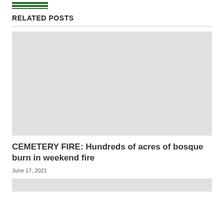[Figure (logo): Green horizontal lines logo (two thick lines and one thin line in dark green)]
RELATED POSTS
[Figure (photo): Light gray placeholder image for cemetery fire article]
CEMETERY FIRE: Hundreds of acres of bosque burn in weekend fire
June 17, 2021
[Figure (photo): Light gray placeholder image for second related post (partially visible)]